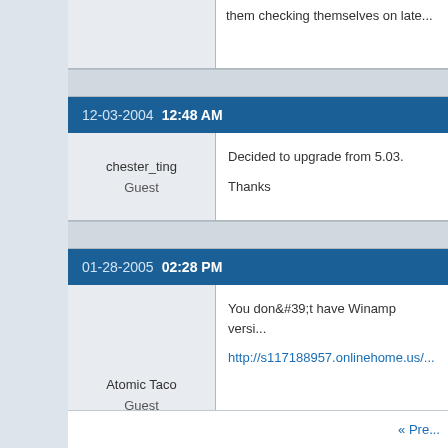them checking themselves on late...
12-03-2004 12:48 AM
chester_ting
Guest
Decided to upgrade from 5.03.

Thanks
01-28-2005 02:28 PM
Atomic Taco
Guest
You don&#39;t have Winamp versi...
http://s117188957.onlinehome.us/...
« Pre...